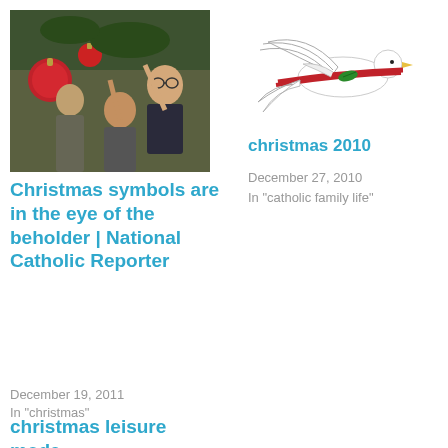[Figure (photo): Photo of people decorating a Christmas tree with red ornaments and greenery]
Christmas symbols are in the eye of the beholder | National Catholic Reporter
December 19, 2011
In "christmas"
[Figure (illustration): Illustration of a white dove carrying a red banner with green leaf]
christmas 2010
December 27, 2010
In "catholic family life"
christmas leisure mode
Dear friends, Please